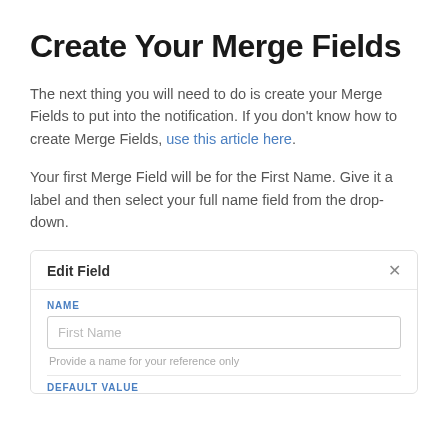Create Your Merge Fields
The next thing you will need to do is create your Merge Fields to put into the notification. If you don't know how to create Merge Fields, use this article here.
Your first Merge Field will be for the First Name. Give it a label and then select your full name field from the drop-down.
[Figure (screenshot): Screenshot of an 'Edit Field' dialog box showing a NAME field with 'First Name' entered and placeholder text 'Provide a name for your reference only', and the beginning of a DEFAULT VALUE section below.]